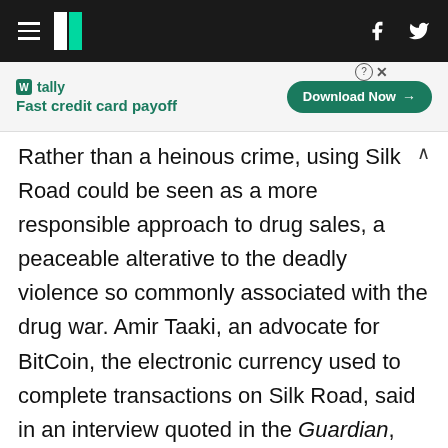HuffPost navigation header with hamburger menu, logo, Facebook and Twitter icons
[Figure (other): Tally advertisement banner: 'Fast credit card payoff' with Download Now button]
Rather than a heinous crime, using Silk Road could be seen as a more responsible approach to drug sales, a peaceable alterative to the deadly violence so commonly associated with the drug war. Amir Taaki, an advocate for BitCoin, the electronic currency used to complete transactions on Silk Road, said in an interview quoted in the Guardian, "People want drugs. The drug war is probably a failed war. I want to get rid of cartels. The way to do that is for people to buy their drugs straight from the producer. That's what's cool about things like Silk Road – you can bypass gangs." The Guardian also reports